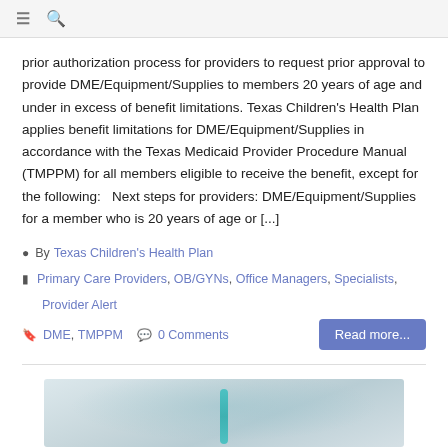≡ 🔍
prior authorization process for providers to request prior approval to provide DME/Equipment/Supplies to members 20 years of age and under in excess of benefit limitations. Texas Children's Health Plan applies benefit limitations for DME/Equipment/Supplies in accordance with the Texas Medicaid Provider Procedure Manual (TMPPM) for all members eligible to receive the benefit, except for the following:   Next steps for providers: DME/Equipment/Supplies for a member who is 20 years of age or [...]
By Texas Children's Health Plan
Primary Care Providers, OB/GYNs, Office Managers, Specialists, Provider Alert
DME, TMPPM   0 Comments   Read more...
[Figure (photo): Blurred medical/clinical background image with teal accent element in center]